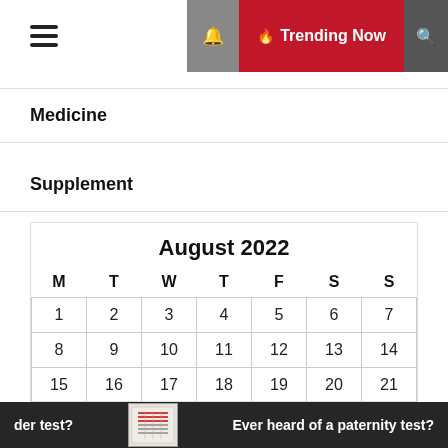≡  🔔  🔥 Trending Now  🔍
Medicine
Supplement
| M | T | W | T | F | S | S |
| --- | --- | --- | --- | --- | --- | --- |
| 1 | 2 | 3 | 4 | 5 | 6 | 7 |
| 8 | 9 | 10 | 11 | 12 | 13 | 14 |
| 15 | 16 | 17 | 18 | 19 | 20 | 21 |
| 22 | 23 | 24 | 25 | 26 | 27 | 28 |
der test?   Ever heard of a paternity test?